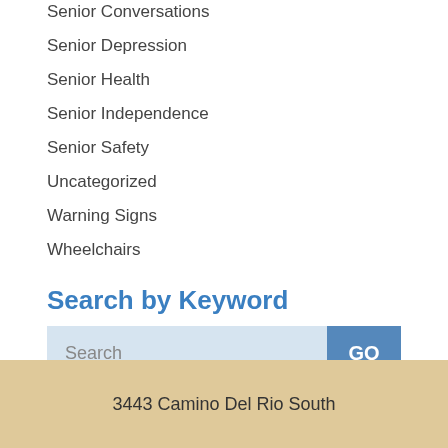Senior Conversations
Senior Depression
Senior Health
Senior Independence
Senior Safety
Uncategorized
Warning Signs
Wheelchairs
Search by Keyword
Search GO
3443 Camino Del Rio South